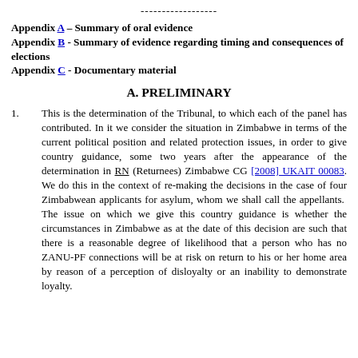------------------
Appendix A – Summary of oral evidence
Appendix B - Summary of evidence regarding timing and consequences of elections
Appendix C - Documentary material
A. PRELIMINARY
1. This is the determination of the Tribunal, to which each of the panel has contributed. In it we consider the situation in Zimbabwe in terms of the current political position and related protection issues, in order to give country guidance, some two years after the appearance of the determination in RN (Returnees) Zimbabwe CG [2008] UKAIT 00083. We do this in the context of re-making the decisions in the case of four Zimbabwean applicants for asylum, whom we shall call the appellants. The issue on which we give this country guidance is whether the circumstances in Zimbabwe as at the date of this decision are such that there is a reasonable degree of likelihood that a person who has no ZANU-PF connections will be at risk on return to his or her home area by reason of a perception of disloyalty or an inability to demonstrate loyalty.